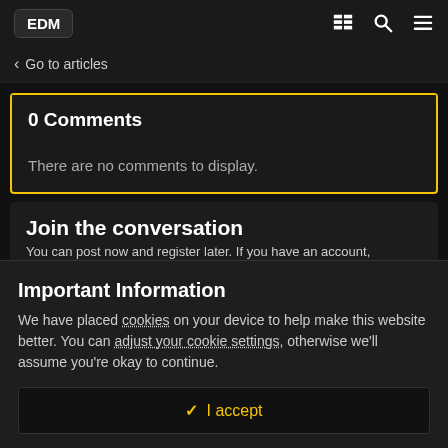EDM
Go to articles
0 Comments
There are no comments to display.
Join the conversation
You can post now and register later. If you have an account,
Important Information
We have placed cookies on your device to help make this website better. You can adjust your cookie settings, otherwise we'll assume you're okay to continue.
✓  I accept